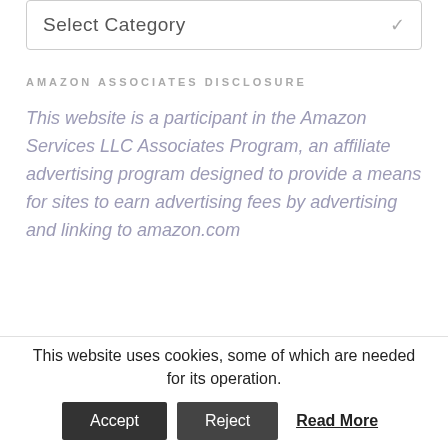[Figure (other): A dropdown UI element with label 'Select Category' and a chevron/heart icon on the right]
AMAZON ASSOCIATES DISCLOSURE
This website is a participant in the Amazon Services LLC Associates Program, an affiliate advertising program designed to provide a means for sites to earn advertising fees by advertising and linking to amazon.com
This website uses cookies, some of which are needed for its operation. Accept Reject Read More